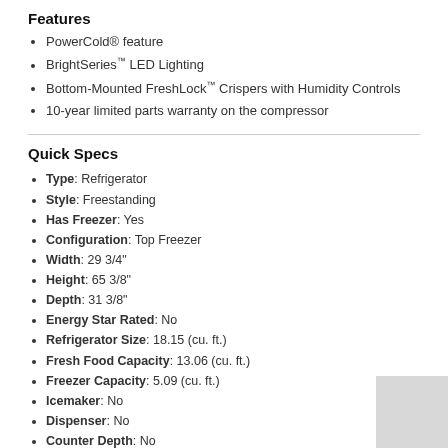Features
PowerCold® feature
BrightSeries™ LED Lighting
Bottom-Mounted FreshLock™ Crispers with Humidity Controls
10-year limited parts warranty on the compressor
Quick Specs
Type: Refrigerator
Style: Freestanding
Has Freezer: Yes
Configuration: Top Freezer
Width: 29 3/4"
Height: 65 3/8"
Depth: 31 3/8"
Energy Star Rated: No
Refrigerator Size: 18.15 (cu. ft.)
Fresh Food Capacity: 13.06 (cu. ft.)
Freezer Capacity: 5.09 (cu. ft.)
Icemaker: No
Dispenser: No
Counter Depth: No
Sabbath Mode: No
WiFi Connected: No